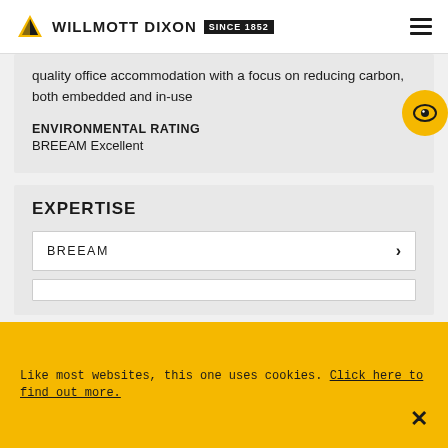WILLMOTT DIXON SINCE 1852
quality office accommodation with a focus on reducing carbon, both embedded and in-use
ENVIRONMENTAL RATING
BREEAM Excellent
EXPERTISE
BREEAM
Like most websites, this one uses cookies. Click here to find out more.